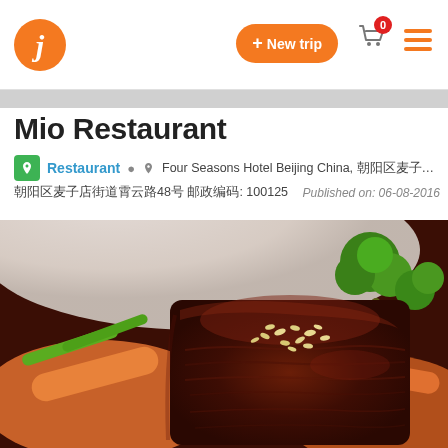Mio Restaurant - navigation header with logo, New trip button, cart and menu
Mio Restaurant
Restaurant  ◈ Four Seasons Hotel Beijing China, 朝阳区麦子店街道霄云路48号 邮政编码: 100125   Published on: 06-08-2016
[Figure (photo): Close-up photo of a braised pork or meat dish glazed with dark sauce and topped with pine nuts, served with green beans, broccoli, and carrots on a white plate]